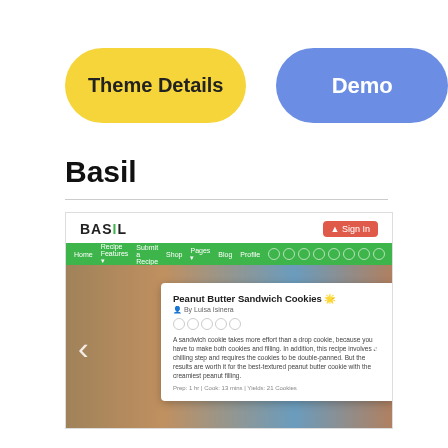[Figure (screenshot): Two pill-shaped buttons: a yellow 'Theme Details' button on the left and a blue 'Demo' button on the right]
Basil
[Figure (screenshot): Screenshot of the Basil WordPress theme showing the header with BASIL logo, green navigation bar, and a cookie recipe slider with a card overlay reading 'Peanut Butter Sandwich Cookies']